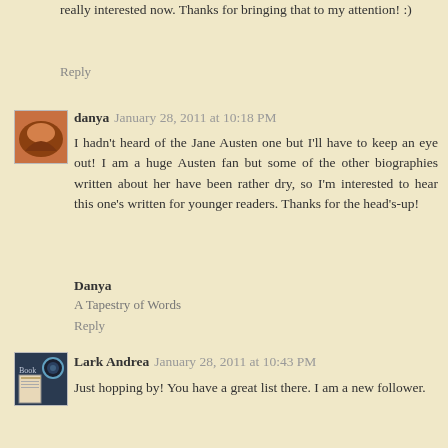really interested now. Thanks for bringing that to my attention! :)
Reply
danya  January 28, 2011 at 10:18 PM
I hadn't heard of the Jane Austen one but I'll have to keep an eye out! I am a huge Austen fan but some of the other biographies written about her have been rather dry, so I'm interested to hear this one's written for younger readers. Thanks for the head's-up!
Danya
A Tapestry of Words
Reply
Lark Andrea  January 28, 2011 at 10:43 PM
Just hopping by! You have a great list there. I am a new follower.